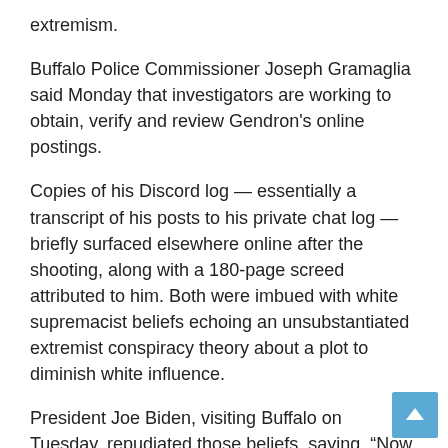extremism.
Buffalo Police Commissioner Joseph Gramaglia said Monday that investigators are working to obtain, verify and review Gendron's online postings.
Copies of his Discord log — essentially a transcript of his posts to his private chat log — briefly surfaced elsewhere online after the shooting, along with a 180-page screed attributed to him. Both were imbued with white supremacist beliefs echoing an unsubstantiated extremist conspiracy theory about a plot to diminish white influence.
President Joe Biden, visiting Buffalo on Tuesday, repudiated those beliefs, saying, “Now is the time for people of all races, from all walks of life, to speak out in the majority…and reject white supremacy.”
[Figure (other): Youtube video thumbnail image placeholder]
Gendron was arraigned over the weekend for murder; a plea of